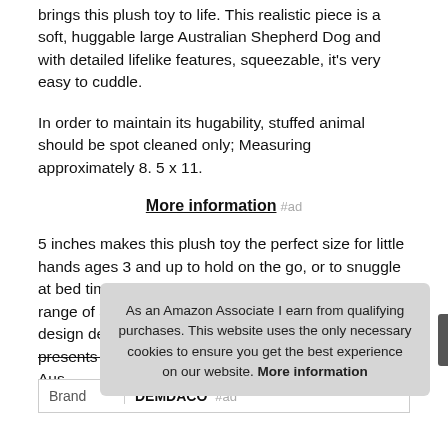brings this plush toy to life. This realistic piece is a soft, huggable large Australian Shepherd Dog and with detailed lifelike features, squeezable, it's very easy to cuddle.
In order to maintain its hugability, stuffed animal should be spot cleaned only; Measuring approximately 8. 5 x 11.
More information #ad
5 inches makes this plush toy the perfect size for little hands ages 3 and up to hold on the go, or to snuggle at bed time. The animalcraft collection offers a wide range of animal types and sizes featuring realistic design details, which make for huggable and loveable presents for someone special. Aus... with...
As an Amazon Associate I earn from qualifying purchases. This website uses the only necessary cookies to ensure you get the best experience on our website. More information
| Brand |  |
| --- | --- |
| Brand | DEMDACO #ad |